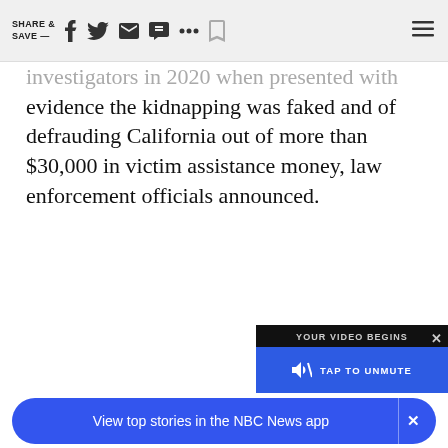SHARE & SAVE —
investigators in 2020 when presented with evidence the kidnapping was faked and of defrauding California out of more than $30,000 in victim assistance money, law enforcement officials announced.
[Figure (screenshot): Video player overlay with 'YOUR VIDEO BEGINS' header and a blue 'TAP TO UNMUTE' button with speaker icon, and an X close button]
View top stories in the NBC News app